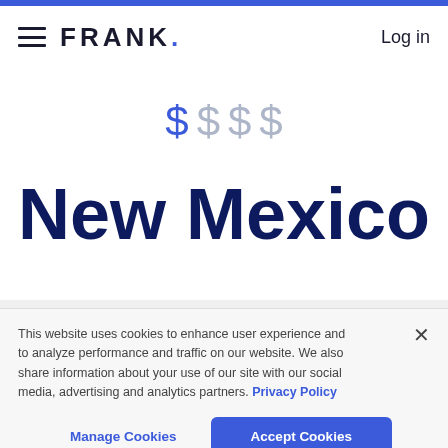FRANK. Log in
[Figure (infographic): Dollar sign affordability indicator: one solid blue dollar sign followed by three faint gray dollar signs, indicating low cost level out of four]
New Mexico
This website uses cookies to enhance user experience and to analyze performance and traffic on our website. We also share information about your use of our site with our social media, advertising and analytics partners. Privacy Policy
Manage Cookies   Accept Cookies